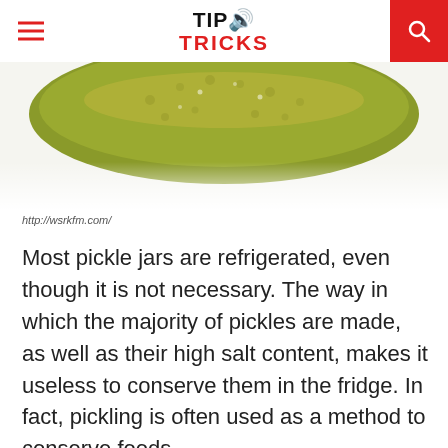TIP TRICKS
[Figure (photo): Close-up photo of a pickle (cucumber in brine), greenish-yellow color, cut off at the top of the frame against a white background.]
http://wsrkfm.com/
Most pickle jars are refrigerated, even though it is not necessary. The way in which the majority of pickles are made, as well as their high salt content, makes it useless to conserve them in the fridge. In fact, pickling is often used as a method to conserve foods.